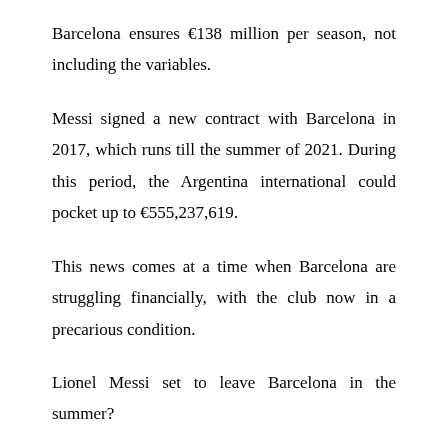Barcelona ensures €138 million per season, not including the variables.
Messi signed a new contract with Barcelona in 2017, which runs till the summer of 2021. During this period, the Argentina international could pocket up to €555,237,619.
This news comes at a time when Barcelona are struggling financially, with the club now in a precarious condition.
Lionel Messi set to leave Barcelona in the summer?
Lionel Messi's current Barcelona contract expires in the